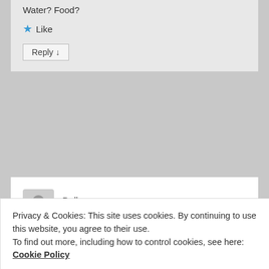Water? Food?
★ Like
Reply ↓
Dallas
on May 25, 2016 at 10:59 PM said:
Always best to break it with water. Wait a while for the water to go into your stomach and gut so it's hydrated and then eat. If you do fasts longer then 5 days then you
Privacy & Cookies: This site uses cookies. By continuing to use this website, you agree to their use.
To find out more, including how to control cookies, see here: Cookie Policy
Close and accept